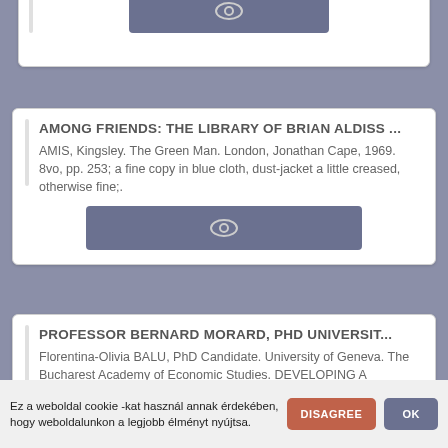[Figure (screenshot): Partial card with eye icon view button, cut off at top]
AMONG FRIENDS: THE LIBRARY OF BRIAN ALDISS ...
AMIS, Kingsley. The Green Man. London, Jonathan Cape, 1969. 8vo, pp. 253; a fine copy in blue cloth, dust-jacket a little creased, otherwise fine;.
[Figure (screenshot): Eye icon view button for the Among Friends card]
PROFESSOR BERNARD MORARD, PHD UNIVERSIT...
Florentina-Olivia BALU, PhD Candidate. University of Geneva. The Bucharest Academy of Economic Studies. DEVELOPING A PRACTICAL MODEL FOR
Ez a weboldal cookie -kat használ annak érdekében, hogy weboldalunkon a legjobb élményt nyújtsa.